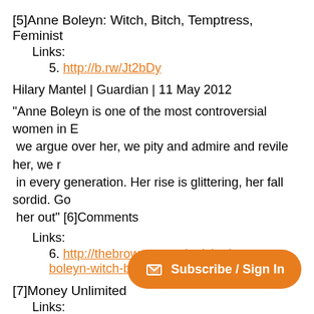[5]Anne Boleyn: Witch, Bitch, Temptress, Feminist
Links:
5. http://b.rw/Jt2bDy
Hilary Mantel | Guardian | 11 May 2012
"Anne Boleyn is one of the most controversial women in E... we argue over her, we pity and admire and revile her, we r... in every generation. Her rise is glittering, her fall sordid. Go... her out" [6]Comments
Links:
6. http://thebrowser.com/articles/anne-boleyn-witch-b...
[7]Money Unlimited
Links:
7. http://b.rw/JbIT72
Jeffrey Toobin | New Yorker | 14 May 2012